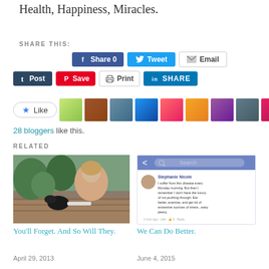Health, Happiness, Miracles.
SHARE THIS:
[Figure (screenshot): Social share buttons: Facebook Share 0, Tweet, Email, Post (Tumblr), Save (Pinterest), Print, LinkedIn SHARE]
[Figure (screenshot): Like button and 28 blogger avatars]
28 bloggers like this.
RELATED
[Figure (photo): Woman with dog outdoors, wooden deck]
You'll Forget. And So Will They.
April 29, 2013
[Figure (screenshot): Facebook post from Stephanie Nicole about suffering from disease every Monday morning]
We Can Do Better.
June 4, 2015